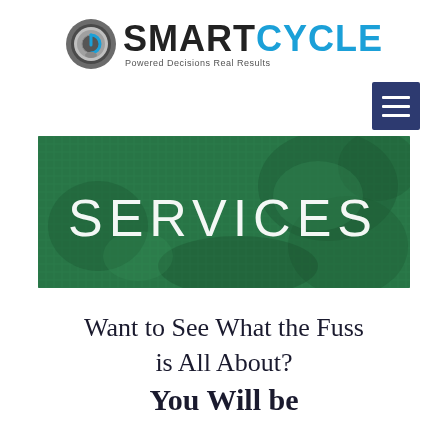[Figure (logo): SmartCycle logo with gear/wrench icon on the left, text SMART in dark and CYCLE in blue, tagline Powered Decisions Real Results]
[Figure (other): Dark navy blue hamburger menu button with three white horizontal bars]
[Figure (other): Green textured banner with the word SERVICES in large white letters]
Want to See What the Fuss is All About? You Will be